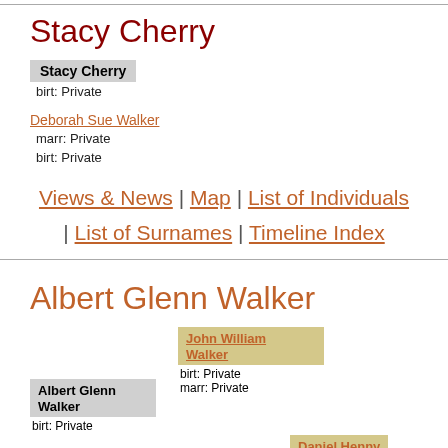Stacy Cherry
Stacy Cherry
birt: Private
Deborah Sue Walker
marr: Private
birt: Private
Views & News | Map | List of Individuals | List of Surnames | Timeline Index
Albert Glenn Walker
John William Walker
birt: Private
marr: Private
Albert Glenn Walker
birt: Private
Daniel Henny